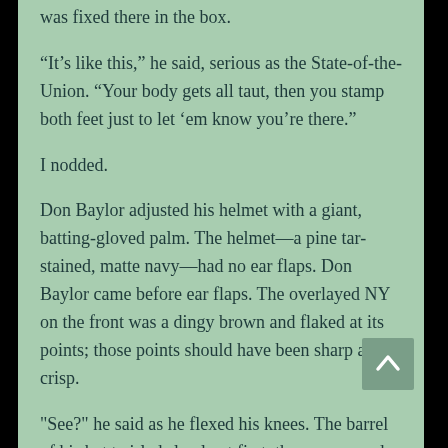was fixed there in the box.
“It’s like this,” he said, serious as the State-of-the-Union. “Your body gets all taut, then you stamp both feet just to let ‘em know you’re there.”
I nodded.
Don Baylor adjusted his helmet with a giant, batting-gloved palm. The helmet—a pine tar-stained, matte navy—had no ear flaps. Don Baylor came before ear flaps. The overlayed NY on the front was a dingy brown and flaked at its points; those points should have been sharp and crisp.
"See?" he said as he flexed his knees. The barrel of his bat twirled slowly at first, then see-sawed above his head.